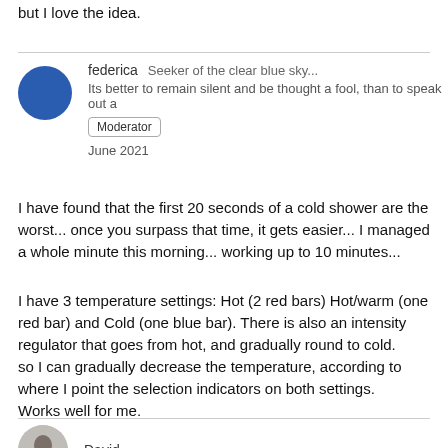but I love the idea.
federica   Seeker of the clear blue sky...
Its better to remain silent and be thought a fool, than to speak out a
Moderator
June 2021
I have found that the first 20 seconds of a cold shower are the worst... once you surpass that time, it gets easier... I managed a whole minute this morning... working up to 10 minutes...
I have 3 temperature settings: Hot (2 red bars) Hot/warm (one red bar) and Cold (one blue bar). There is also an intensity regulator that goes from hot, and gradually round to cold. so I can gradually decrease the temperature, according to where I point the selection indicators on both settings.
Works well for me.
David